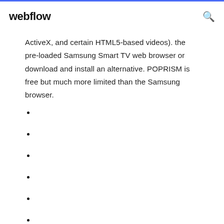webflow
ActiveX, and certain HTML5-based videos). the pre-loaded Samsung Smart TV web browser or download and install an alternative. POPRISM is free but much more limited than the Samsung browser.